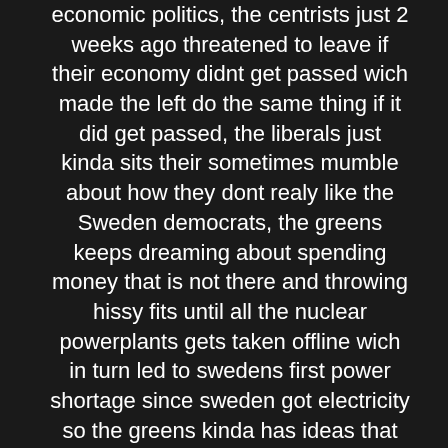economic politics, the centrists just 2 weeks ago threatened to leave if their economy didnt get passed wich made the left do the same thing if it did get passed, the liberals just kinda sits their sometimes mumble about how they dont realy like the Sweden democrats, the greens keeps dreaming about spending money that is not there and throwing hissy fits until all the nuclear powerplants gets taken offline wich in turn led to swedens first power shortage since sweden got electricity so the greens kinda has ideas that noone has tkaen the itme to think before acting...BUT the one thing that keeps these warring partys together in this insanely incompatible block is their hatred for the sweden democrats and their inability to understand the reason as to why the sweden democrats are